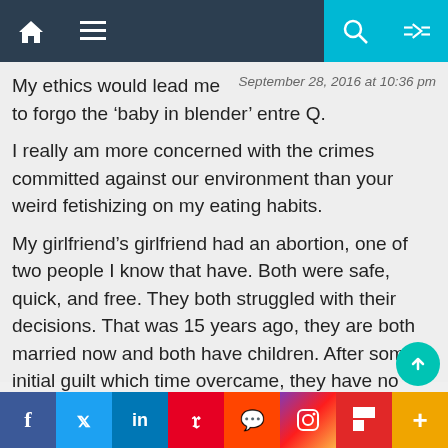Navigation bar with home, menu, search, and random icons
September 28, 2016 at 10:36 pm
My ethics would lead me to forgo the ‘baby in blender’ entre Q.
I really am more concerned with the crimes committed against our environment than your weird fetishizing on my eating habits.
My girlfriend’s girlfriend had an abortion, one of two people I know that have. Both were safe, quick, and free. They both struggled with their decisions. That was 15 years ago, they are both married now and both have children. After some initial guilt which time overcame, they have no regrets and regularly thank me and remind me of the time.
Social share bar: Facebook, Twitter, LinkedIn, Pinterest, Reddit, Instagram, Flipboard, More